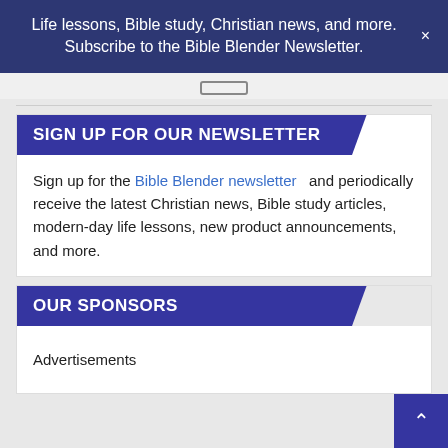Life lessons, Bible study, Christian news, and more. Subscribe to the Bible Blender Newsletter. ×
SIGN UP FOR OUR NEWSLETTER
Sign up for the Bible Blender newsletter and periodically receive the latest Christian news, Bible study articles, modern-day life lessons, new product announcements, and more.
OUR SPONSORS
Advertisements